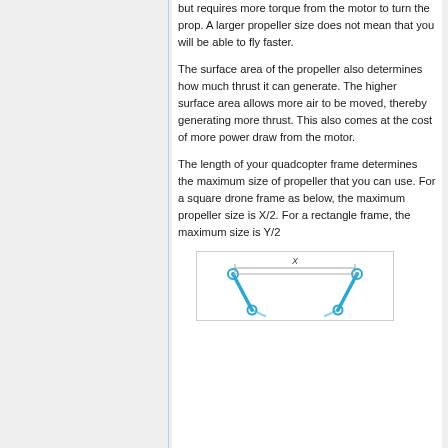but requires more torque from the motor to turn the prop. A larger propeller size does not mean that you will be able to fly faster.
The surface area of the propeller also determines how much thrust it can generate. The higher surface area allows more air to be moved, thereby generating more thrust. This also comes at the cost of more power draw from the motor.
The length of your quadcopter frame determines the maximum size of propeller that you can use. For a square drone frame as below, the maximum propeller size is X/2. For a rectangle frame, the maximum size is Y/2
[Figure (engineering-diagram): Diagram of a drone frame (quadcopter) viewed from above, showing a trapezoidal/triangular frame with motor mounts at corners, connected by diagonal arms, with a horizontal dimension label X at the top.]